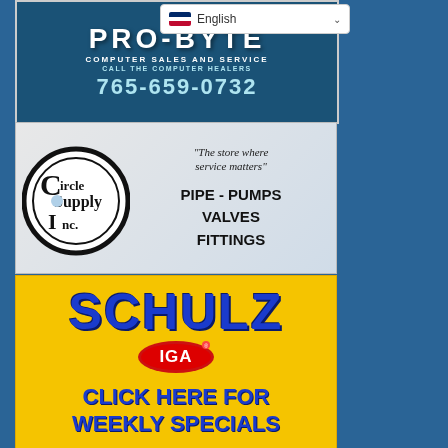[Figure (advertisement): PRO-BYTE Computer Sales and Service ad on dark blue background. Text: COMPUTER SALES AND SERVICE, CALL THE COMPUTER HEALERS, 765-659-0732. Also shows English language selector overlay.]
[Figure (advertisement): Circle Supply Inc. ad with logo on left (circular CSI logo). Tagline: The store where service matters. Products: PIPE - PUMPS VALVES FITTINGS.]
[Figure (advertisement): Schulz IGA ad on yellow background. Large blue text: SCHULZ with IGA logo. Text: CLICK HERE FOR WEEKLY SPECIALS.]